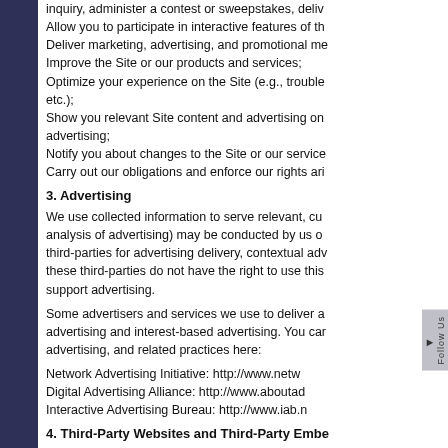inquiry, administer a contest or sweepstakes, deliv...
Allow you to participate in interactive features of th...
Deliver marketing, advertising, and promotional me...
Improve the Site or our products and services;
Optimize your experience on the Site (e.g., trouble... etc.);
Show you relevant Site content and advertising on... advertising;
Notify you about changes to the Site or our service...
Carry out our obligations and enforce our rights ari...
3. Advertising
We use collected information to serve relevant, cu... analysis of advertising) may be conducted by us o... third-parties for advertising delivery, contextual adv... these third-parties do not have the right to use this... support advertising.
Some advertisers and services we use to deliver a... advertising and interest-based advertising. You car... advertising, and related practices here:
Network Advertising Initiative: http://www.netw...
Digital Advertising Alliance: http://www.aboutac...
Interactive Advertising Bureau: http://www.iab.n...
4. Third-Party Websites and Third-Party Embe...
We do not control the privacy policies of third-p... may be accessed, directly or indirectly, through... that is collected by, third-party sites may be su... party content embedded on the Site), if any. It...